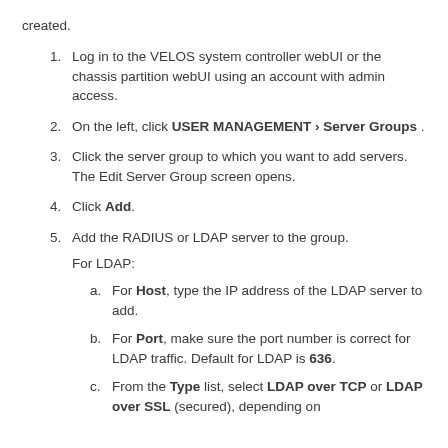created.
Log in to the VELOS system controller webUI or the chassis partition webUI using an account with admin access.
On the left, click USER MANAGEMENT › Server Groups .
Click the server group to which you want to add servers. The Edit Server Group screen opens.
Click Add.
Add the RADIUS or LDAP server to the group. For LDAP:
For Host, type the IP address of the LDAP server to add.
For Port, make sure the port number is correct for LDAP traffic. Default for LDAP is 636.
From the Type list, select LDAP over TCP or LDAP over SSL (secured), depending on